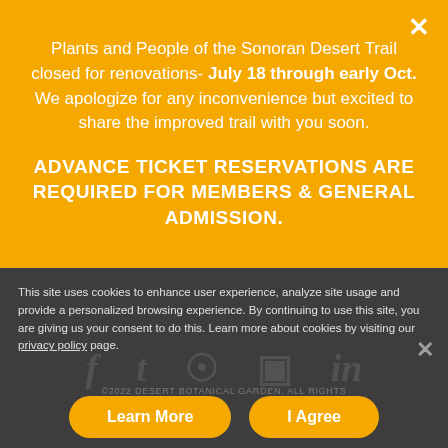Plants and People of the Sonoran Desert Trail closed for renovations- July 18 through early Oct. We apologize for any inconvenience but excited to share the improved trail with you soon.
ADVANCE TICKET RESERVATIONS ARE REQUIRED FOR MEMBERS & GENERAL ADMISSION.
This site uses cookies to enhance user experience, analyze site usage and provide a personalized browsing experience. By continuing to use this site, you are giving us your consent to do this. Learn more about cookies by visiting our privacy policy page.
©2022 DESERT BOTANICAL GARDEN. ALL RIGHTS RESERVED. | PRIVACY NOTICE TERMS OF USE